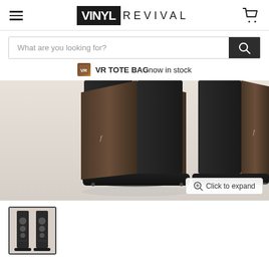VINYL REVIVAL
What are you looking for?
VR TOTE BAG now in stock
[Figure (photo): Two Focal Aria 948 floorstanding speakers shown from the base/rear angle, with dark wood veneer sides and black enclosures on black bases. Focal logo visible on sides.]
Click to expand
[Figure (photo): Thumbnail image of the Focal Aria 948 speakers shown full height from the front.]
FOCAL ARIA 948 FLOORSTANDING SPEAKER -